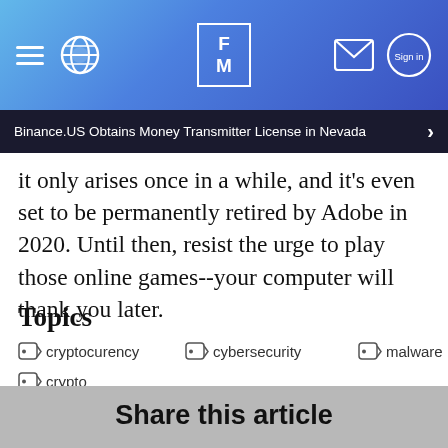FM — Finance Magnates website header with navigation icons
Binance.US Obtains Money Transmitter License in Nevada
it only arises once in a while, and it's even set to be permanently retired by Adobe in 2020. Until then, resist the urge to play those online games--your computer will thank you later.
Topics
cryptocurency
cybersecurity
malware
crypto
Share this article